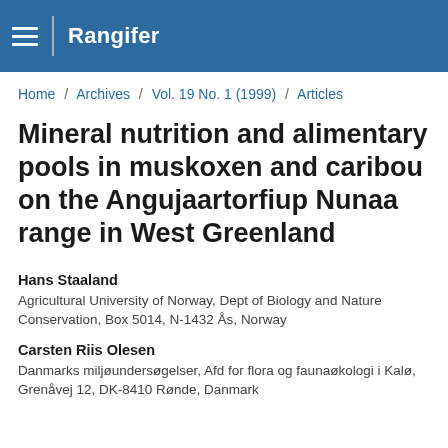Rangifer
Home / Archives / Vol. 19 No. 1 (1999) / Articles
Mineral nutrition and alimentary pools in muskoxen and caribou on the Angujaartorfiup Nunaa range in West Greenland
Hans Staaland
Agricultural University of Norway, Dept of Biology and Nature Conservation, Box 5014, N-1432 Ås, Norway
Carsten Riis Olesen
Danmarks miljøundersøgelser, Afd for flora og faunaøkologi i Kalø, Grenåvej 12, DK-8410 Rønde, Danmark